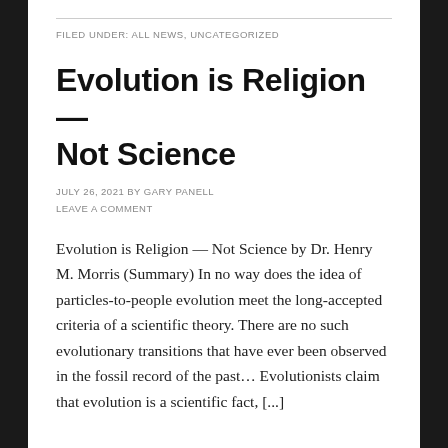FILED UNDER: ALL NEWS, UNCATEGORIZED
Evolution is Religion — Not Science
JULY 26, 2021 BY GARY PANELL
LEAVE A COMMENT
Evolution is Religion — Not Science by Dr. Henry M. Morris (Summary) In no way does the idea of particles-to-people evolution meet the long-accepted criteria of a scientific theory. There are no such evolutionary transitions that have ever been observed in the fossil record of the past… Evolutionists claim that evolution is a scientific fact, [...]